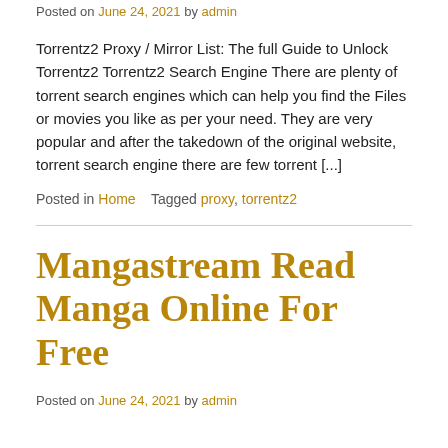Posted on June 24, 2021 by admin
Torrentz2 Proxy / Mirror List: The full Guide to Unlock Torrentz2 Torrentz2 Search Engine There are plenty of torrent search engines which can help you find the Files or movies you like as per your need. They are very popular and after the takedown of the original website, torrent search engine there are few torrent [...]
Posted in Home   Tagged proxy, torrentz2
Mangastream Read Manga Online For Free
Posted on June 24, 2021 by admin